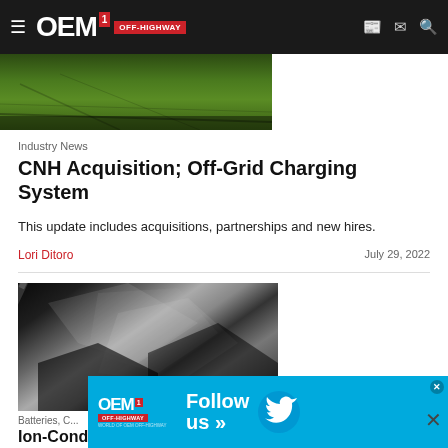OEM Off-Highway
[Figure (photo): Partial view of green grass/turf field]
Industry News
CNH Acquisition; Off-Grid Charging System
This update includes acquisitions, partnerships and new hires.
Lori Ditoro
July 29, 2022
[Figure (photo): Close-up of a reflective polymer membrane or metallic material surface with light reflections]
Batteries, C...
Ion-Conductive Polymer Membrane for Air...
[Figure (other): OEM Off-Highway Twitter follow advertisement banner in cyan blue with bird logo]